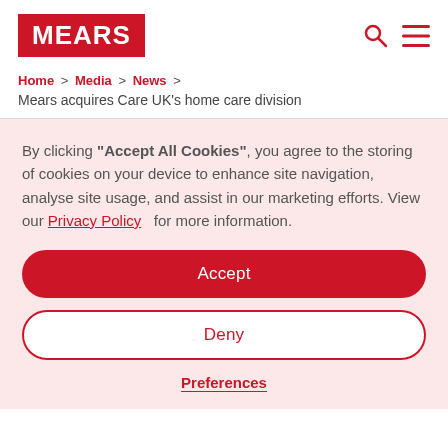MEARS
Home > Media > News > Mears acquires Care UK’s home care division
By clicking “Accept All Cookies”, you agree to the storing of cookies on your device to enhance site navigation, analyse site usage, and assist in our marketing efforts. View our Privacy Policy for more information.
Accept
Deny
Preferences